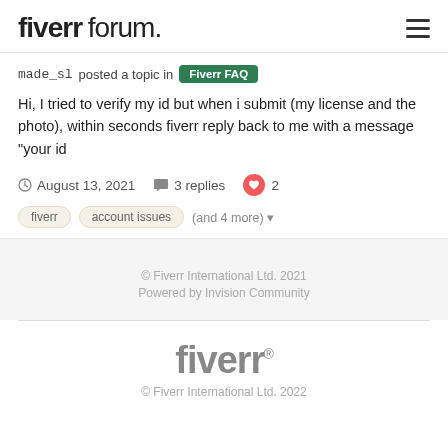fiverr forum.
made_sl posted a topic in Fiverr FAQ
Hi, I tried to verify my id but when i submit (my license and the photo), within seconds fiverr reply back to me with a message "your id
August 13, 2021   3 replies   2
fiverr   account issues   (and 4 more)
© Fiverr International Ltd. 2021
Powered by Invision Community
[Figure (logo): Fiverr logo in gray with registered trademark symbol]
© Fiverr International Ltd. 2022